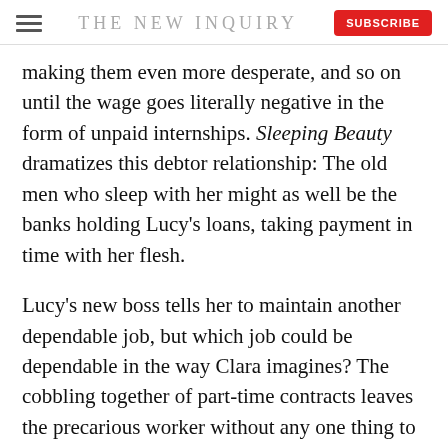THE NEW INQUIRY
making them even more desperate, and so on until the wage goes literally negative in the form of unpaid internships. Sleeping Beauty dramatizes this debtor relationship: The old men who sleep with her might as well be the banks holding Lucy’s loans, taking payment in time with her flesh.
Lucy’s new boss tells her to maintain another dependable job, but which job could be dependable in the way Clara imagines? The cobbling together of part-time contracts leaves the precarious worker without any one thing to fall back on. Under earlier capitalist labor relations, workers’ ability to get another job gave